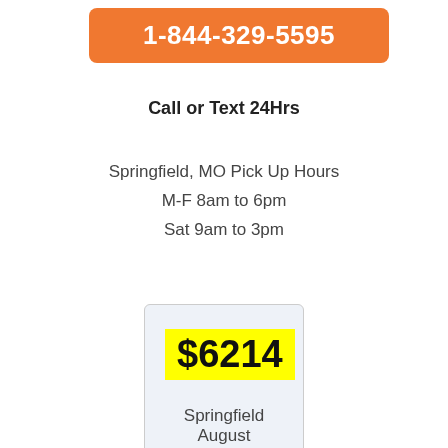1-844-329-5595
Call or Text 24Hrs
Springfield, MO Pick Up Hours
M-F 8am to 6pm
Sat 9am to 3pm
$6214
Springfield August Average
Cash for Car Buy Offer